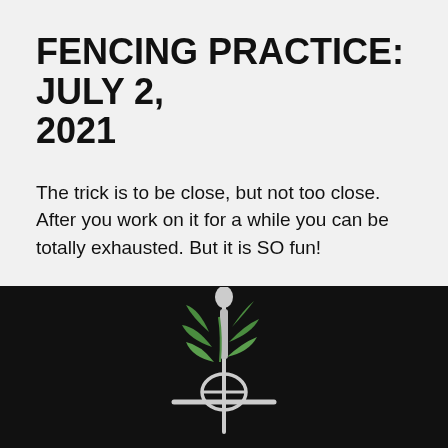FENCING PRACTICE: JULY 2, 2021
The trick is to be close, but not too close. After you work on it for a while you can be totally exhausted. But it is SO fun!
Practice, Shay
[Figure (logo): A fencing sword (épée/rapier) with a green plant/vine growing around it, white sword on black background — appears to be a club or website logo]